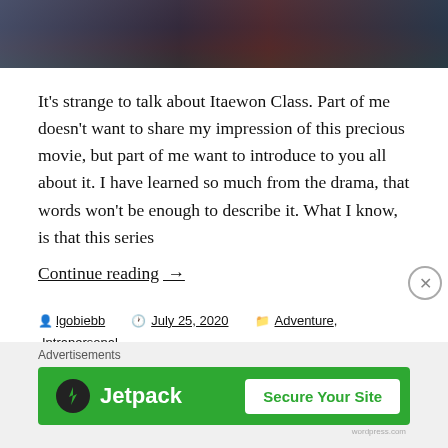[Figure (photo): Group of people standing together, partial view from waist down, city street or event setting]
It's strange to talk about Itaewon Class. Part of me doesn't want to share my impression of this precious movie, but part of me want to introduce to you all about it. I have learned so much from the drama, that words won't be enough to describe it. What I know, is that this series
Continue reading  →
By lgobiebb   July 25, 2020   Adventure, Intrapersonal
artist, business, daily vlog, entrepreneurship, itaewon class, itaewon class OST, kdrama, music, mv, start over, startup, still fighting it, writing
Advertisements
[Figure (screenshot): Jetpack advertisement banner with green background. Shows Jetpack logo on left and 'Secure Your Site' button on right.]